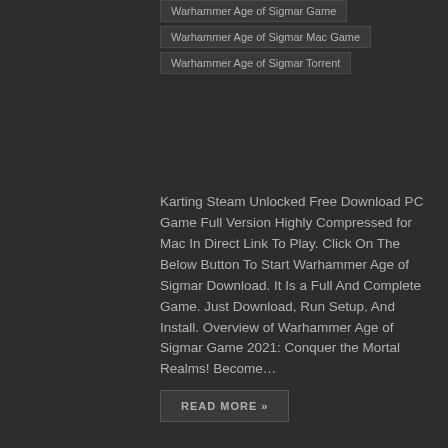Warhammer Age of Sigmar Game
Warhammer Age of Sigmar Mac Game
Warhammer Age of Sigmar Torrent
Karting Steam Unlocked Free Download PC Game Full Version Highly Compressed for Mac In Direct Link To Play. Click On The Below Button To Start Warhammer Age of Sigmar Download. It Is a Full And Complete Game. Just Download, Run Setup, And Install. Overview of Warhammer Age of Sigmar Game 2021: Conquer the Mortal Realms! Become…
READ MORE »
HUSH HUSH – ONLY YOUR LOVE CAN SAVE THEM